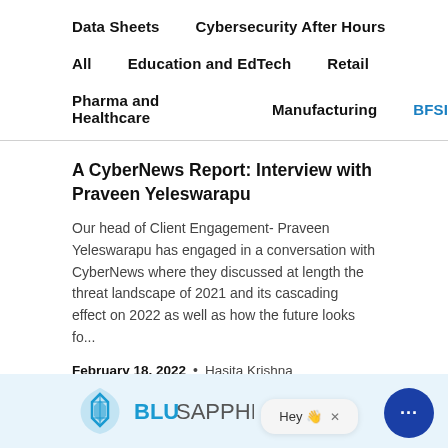Data Sheets   Cybersecurity After Hours
All   Education and EdTech   Retail
Pharma and Healthcare   Manufacturing   BFSI
A CyberNews Report: Interview with Praveen Yeleswarapu
Our head of Client Engagement- Praveen Yeleswarapu has engaged in a conversation with CyberNews where they discussed at length the threat landscape of 2021 and its cascading effect on 2022 as well as how the future looks fo...
February 18, 2022 • Hasita Krishna
[Figure (logo): BluSapphire logo and chat widget at the bottom of the page]